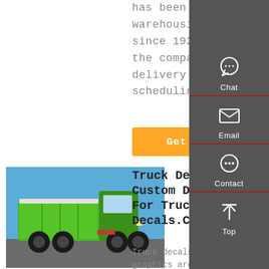has been providing warehousing services since 1925. In addition, the company offers delivery and pickup scheduling
Get a Quote
[Figure (photo): Green dump truck parked in a lot with blue sky background]
Truck Decals Custom Decals For Trucks | Decals.Com
Truck decals or truck graphics are typically used for advertising
[Figure (infographic): Right sidebar with Chat, Email, Contact, and Top navigation icons on dark grey background]